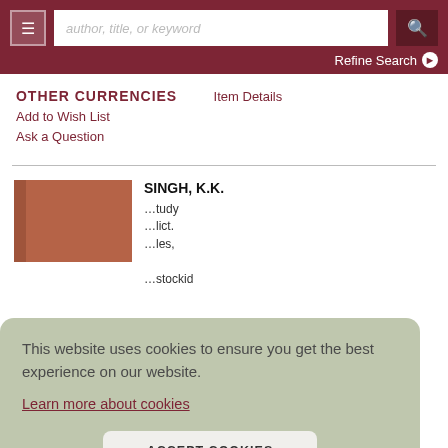author, title, or keyword | Refine Search
OTHER CURRENCIES
Item Details
Add to Wish List
Ask a Question
SINGH, K.K.
...study ...lict. ...les, ...stockid
This website uses cookies to ensure you get the best experience on our website.
Learn more about cookies
ACCEPT COOKIES